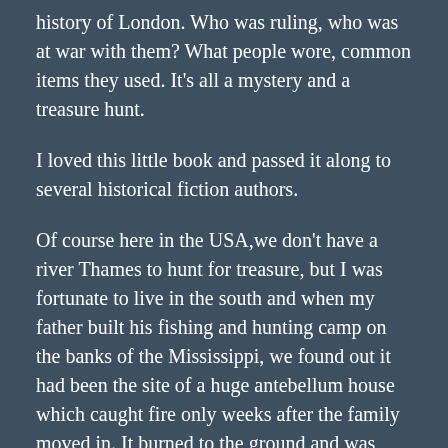history of London. Who was ruling, who was at war with them? What people wore, common items they used. It's all a mystery and a treasure hunt.
I loved this little book and passed it along to several historical fiction authors.
Of course here in the USA,we don't have a river Thames to hunt for treasure, but I was fortunate to live in the south and when my father built his fishing and hunting camp on the banks of the Mississippi, we found out it had been the site of a huge antebellum house which caught fire only weeks after the family moved in. It burned to the ground and was never rebuilt, so with every rain we dug up more treasure. Beautiful pieces of china and pottery. Everyday items and lots of buttons. It instilled in me a lifelong love of treasure hunting.